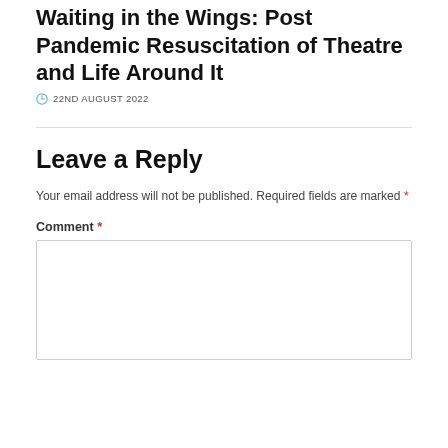Waiting in the Wings: Post Pandemic Resuscitation of Theatre and Life Around It
22ND AUGUST 2022
Leave a Reply
Your email address will not be published. Required fields are marked *
Comment *